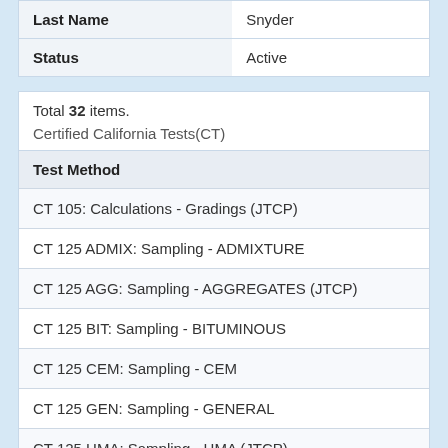| Field | Value |
| --- | --- |
| Last Name | Snyder |
| Status | Active |
Total 32 items.
Certified California Tests(CT)
| Test Method |
| --- |
| CT 105: Calculations - Gradings (JTCP) |
| CT 125 ADMIX: Sampling - ADMIXTURE |
| CT 125 AGG: Sampling - AGGREGATES (JTCP) |
| CT 125 BIT: Sampling - BITUMINOUS |
| CT 125 CEM: Sampling - CEM |
| CT 125 GEN: Sampling - GENERAL |
| CT 125 HMA: Sampling - HMA (JTCP) |